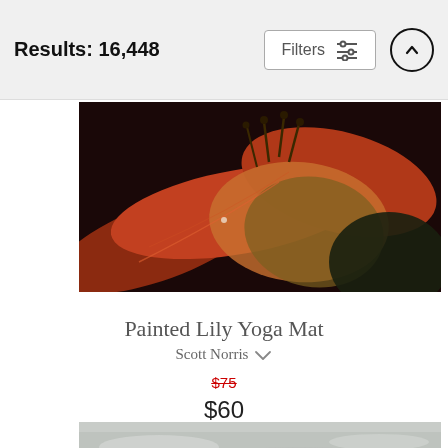Results: 16,448
[Figure (photo): Close-up macro photograph of an orange/red day lily flower with stamens visible against a dark background]
Painted Lily Yoga Mat
Scott Norris
$75 (original price, struck through) $60 (sale price)
[Figure (photo): Partial view of a sky photograph with grey clouds, cut off at bottom of page]